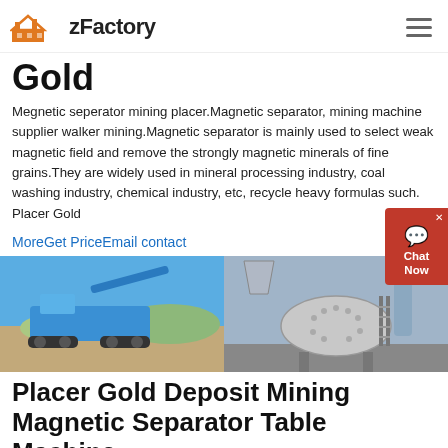zFactory
Gold
Megnetic seperator mining placer.Magnetic separator, mining machine supplier walker mining.Magnetic separator is mainly used to select weak magnetic field and remove the strongly magnetic minerals of fine grains.They are widely used in mineral processing industry, coal washing industry, chemical industry, etc, recycle heavy formulas such. Placer Gold
MoreGet PriceEmail contact
[Figure (photo): Two photos side by side: left shows a blue mobile mining/crushing machine outdoors; right shows industrial ball mill or grinding equipment in a factory setting]
Placer Gold Deposit Mining Magnetic Separator Table Machine
Placer Gold Deposit Mining Magnetic Separator Table Machine. Alibaba offers 2,414 gold mining machinery products. About 25 of these are